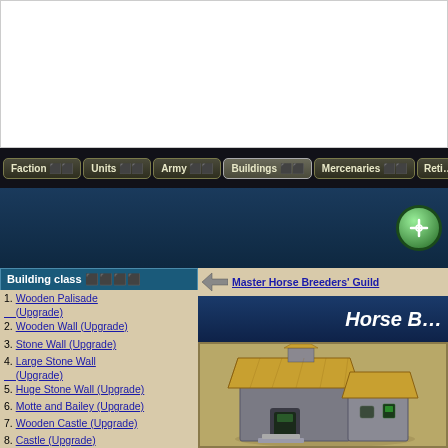[Figure (screenshot): Top white banner area of a game wiki page]
Faction | Units | Army | Buildings | Mercenaries | Reti...
[Figure (screenshot): Blue banner with green circular button]
Building class
1. Wooden Palisade (Upgrade)
2. Wooden Wall (Upgrade)
3. Stone Wall (Upgrade)
4. Large Stone Wall (Upgrade)
5. Huge Stone Wall (Upgrade)
6. Motte and Bailey (Upgrade)
7. Wooden Castle (Upgrade)
8. Castle (Upgrade)
9. Fortress (Upgrade)
10. Citadel (Upgrade)
11. Ballista Towers
12. Ballista Towers
Master Horse Breeders' Guild
[Figure (illustration): 3D rendered building - Horse Breeders Guild stone building with wooden roof]